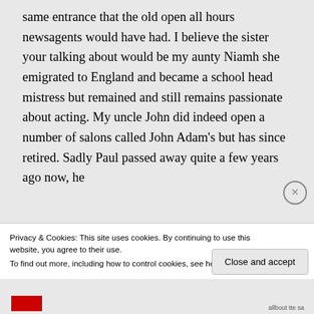same entrance that the old open all hours newsagents would have had. I believe the sister your talking about would be my aunty Niamh she emigrated to England and became a school head mistress but remained and still remains passionate about acting. My uncle John did indeed open a number of salons called John Adam's but has since retired. Sadly Paul passed away quite a few years ago now, he
Privacy & Cookies: This site uses cookies. By continuing to use this website, you agree to their use.
To find out more, including how to control cookies, see here: Cookie Policy